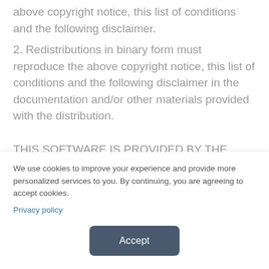above copyright notice, this list of conditions and the following disclaimer.
2. Redistributions in binary form must reproduce the above copyright notice, this list of conditions and the following disclaimer in the documentation and/or other materials provided with the distribution.
THIS SOFTWARE IS PROVIDED BY THE AUTHORS ``AS IS'' AND ANY EXPRESS OR IMPLIED WARRANTIES, INCLUDING, BUT NOT LIMITED TO, THE IMPLIED WARRANTIES OF
We use cookies to improve your experience and provide more personalized services to you. By continuing, you are agreeing to accept cookies.
Privacy policy
Accept